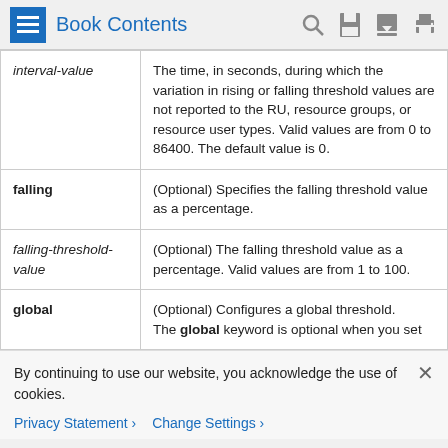Book Contents
| Parameter | Description |
| --- | --- |
| interval-value | The time, in seconds, during which the variation in rising or falling threshold values are not reported to the RU, resource groups, or resource user types. Valid values are from 0 to 86400. The default value is 0. |
| falling | (Optional) Specifies the falling threshold value as a percentage. |
| falling-threshold-value | (Optional) The falling threshold value as a percentage. Valid values are from 1 to 100. |
| global | (Optional) Configures a global threshold.
The global keyword is optional when you set |
By continuing to use our website, you acknowledge the use of cookies.
Privacy Statement › Change Settings ›